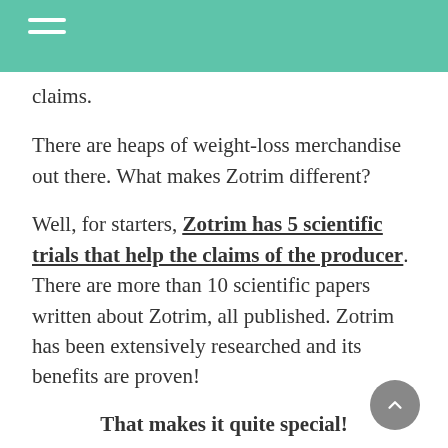claims.
There are heaps of weight-loss merchandise out there. What makes Zotrim different?
Well, for starters, Zotrim has 5 scientific trials that help the claims of the producer. There are more than 10 scientific papers written about Zotrim, all published. Zotrim has been extensively researched and its benefits are proven!
That makes it quite special!